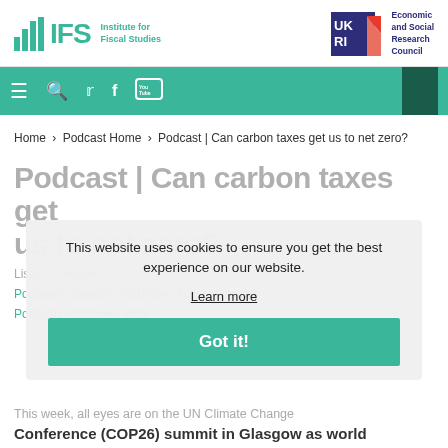[Figure (logo): IFS Institute for Fiscal Studies logo with green bar chart icon and green text, alongside UKRI Economic and Social Research Council logo with blue and red geometric shapes]
[Figure (infographic): Green navigation bar with hamburger menu, search, Twitter, Facebook, and YouTube icons, and a dark green block on the right]
Home > Podcast Home > Podcast | Can carbon taxes get us to net zero?
Podcast | Can carbon taxes get us to net zero?
This website uses cookies to ensure you get the best experience on our website.
Learn more
Listen on Apple Podcasts | Spotify | YouTube | Acast | Google Podcasts | Stitcher | RSS
Got it!
This week, all eyes are on the UN Climate Change Conference (COP26) summit in Glasgow as world